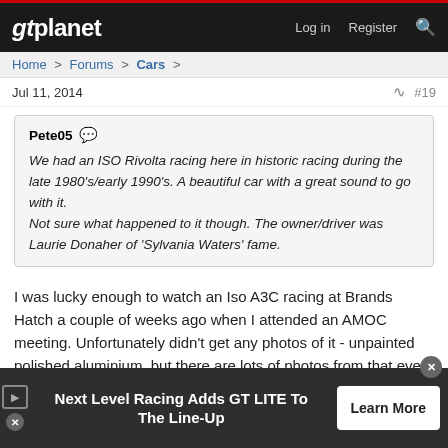gtplanet | Log in  Register
Home > Forums > Cars >
Jul 11, 2014  #19
Pete05
We had an ISO Rivolta racing here in historic racing during the late 1980's/early 1990's. A beautiful car with a great sound to go with it.
Not sure what happened to it though. The owner/driver was Laurie Donaher of 'Sylvania Waters' fame.
I was lucky enough to watch an Iso A3C racing at Brands Hatch a couple of weeks ago when I attended an AMOC meeting. Unfortunately didn't get any photos of it - unpainted polished aluminium, but there are lots of photos from that event on the thread in my signature - on page 18.
Next Level Racing Adds GT LITE To The Line-Up  Learn More